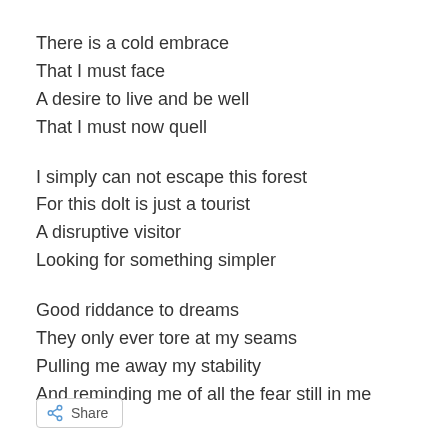There is a cold embrace
That I must face
A desire to live and be well
That I must now quell
I simply can not escape this forest
For this dolt is just a tourist
A disruptive visitor
Looking for something simpler
Good riddance to dreams
They only ever tore at my seams
Pulling me away my stability
And reminding me of all the fear still in me
Share